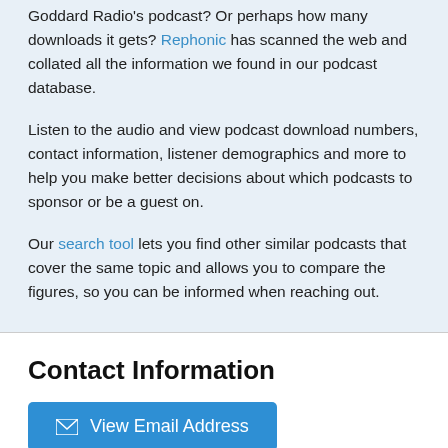Goddard Radio's podcast? Or perhaps how many downloads it gets? Rephonic has scanned the web and collated all the information we found in our podcast database.
Listen to the audio and view podcast download numbers, contact information, listener demographics and more to help you make better decisions about which podcasts to sponsor or be a guest on.
Our search tool lets you find other similar podcasts that cover the same topic and allows you to compare the figures, so you can be informed when reaching out.
Contact Information
View Email Address
How Many Listeners?